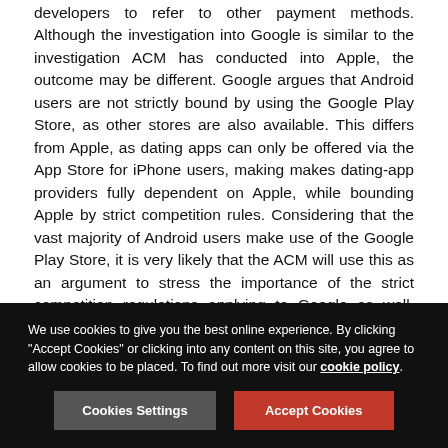developers to refer to other payment methods. Although the investigation into Google is similar to the investigation ACM has conducted into Apple, the outcome may be different. Google argues that Android users are not strictly bound by using the Google Play Store, as other stores are also available. This differs from Apple, as dating apps can only be offered via the App Store for iPhone users, making makes dating-app providers fully dependent on Apple, while bounding Apple by strict competition rules. Considering that the vast majority of Android users make use of the Google Play Store, it is very likely that the ACM will use this as an argument to stress the importance of the strict competition regulations applying to Google as well, resulting into strong similarities between the Apple and Google investigations.

Before we can see any enforcement action from the ACM, the latter will need to investigate if there is any value in the
We use cookies to give you the best online experience. By clicking "Accept Cookies" or clicking into any content on this site, you agree to allow cookies to be placed. To find out more visit our cookie policy.